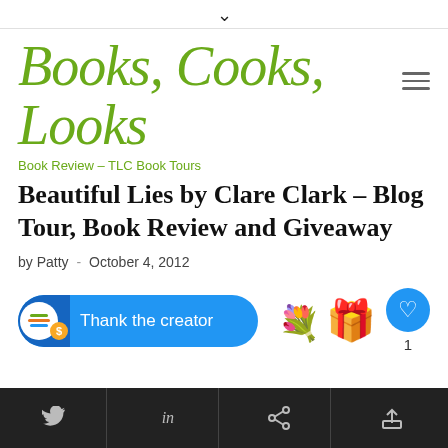Books, Cooks, Looks
Book Review – TLC Book Tours
Beautiful Lies by Clare Clark – Blog Tour, Book Review and Giveaway
by Patty - October 4, 2012
[Figure (screenshot): Thank the creator button with blue rounded pill shape, flower and gifts emojis, and a blue heart like button showing count of 1]
Social share icons bar: Twitter, LinkedIn, and share button